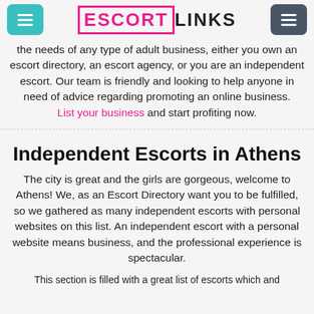ESCORT LINKS
the needs of any type of adult business, either you own an escort directory, an escort agency, or you are an independent escort. Our team is friendly and looking to help anyone in need of advice regarding promoting an online business. List your business and start profiting now.
Independent Escorts in Athens
The city is great and the girls are gorgeous, welcome to Athens! We, as an Escort Directory want you to be fulfilled, so we gathered as many independent escorts with personal websites on this list. An independent escort with a personal website means business, and the professional experience is spectacular.
This section is filled with a great list of escorts which and...